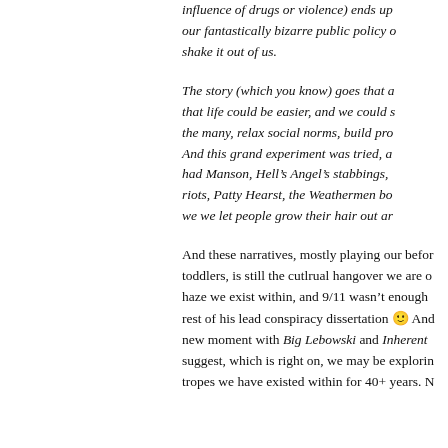influence of drugs or violence) ends up our fantastically bizarre public policy o shake it out of us.
The story (which you know) goes that a that life could be easier, and we could s the many, relax social norms, build pro And this grand experiment was tried, a had Manson, Hell's Angel's stabbings, riots, Patty Hearst, the Weathermen bo we we let people grow their hair out ar
And these narratives, mostly playing our before toddlers, is still the cutlrual hangover we are o haze we exist within, and 9/11 wasn't enough rest of his lead conspiracy dissertation 🙂 And new moment with Big Lebowski and Inherent suggest, which is right on, we may be explorin tropes we have existed within for 40+ years. N